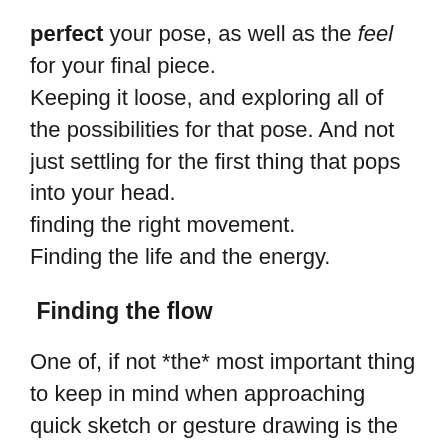perfect your pose, as well as the feel for your final piece.
Keeping it loose, and exploring all of the possibilities for that pose. And not just settling for the first thing that pops into your head.
finding the right movement.
Finding the life and the energy.
Finding the flow
One of, if not *the* most important thing to keep in mind when approaching quick sketch or gesture drawing is the “line of action”.
Many people attribute this (mistakenly) to only action poses. But really, it’s even more important in